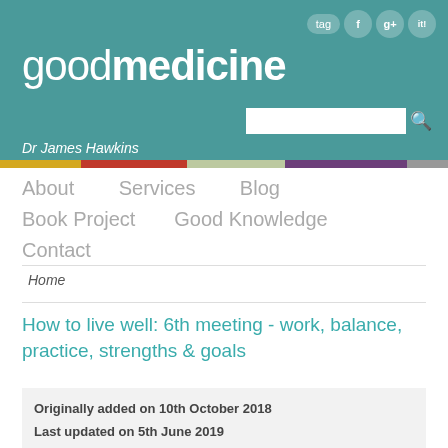[Figure (screenshot): Website header with teal background showing 'goodmedicine' logo, social media icons (tag, f, g+, it!), search bar, and 'Dr James Hawkins' byline, with a multicolor bar beneath]
About   Services   Blog
Book Project   Good Knowledge
Contact
Home
How to live well: 6th meeting - work, balance, practice, strengths & goals
Originally added on 10th October 2018
Last updated on 5th June 2019